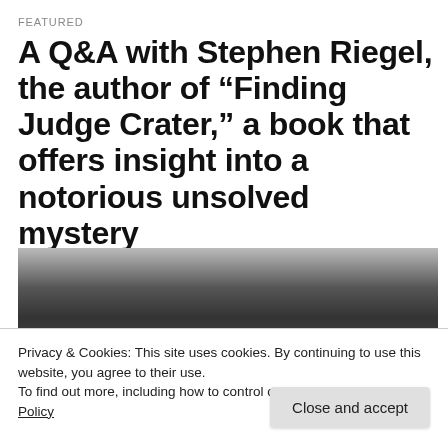FEATURED
A Q&A with Stephen Riegel, the author of “Finding Judge Crater,” a book that offers insight into a notorious unsolved mystery
[Figure (photo): Partial photo showing a dark object, likely a book, against a light background]
Privacy & Cookies: This site uses cookies. By continuing to use this website, you agree to their use.
To find out more, including how to control cookies, see here: Cookie Policy
Close and accept
+ Follow